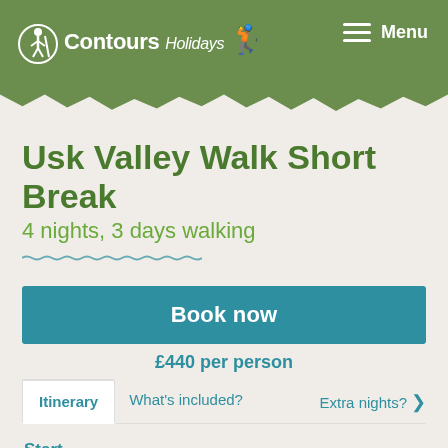Contours Holidays — Menu
Usk Valley Walk Short Break
4 nights, 3 days walking
Book now
£440 per person
Itinerary | What's included? | Extra nights?
Start
Travel to Abergavenny where your first night's